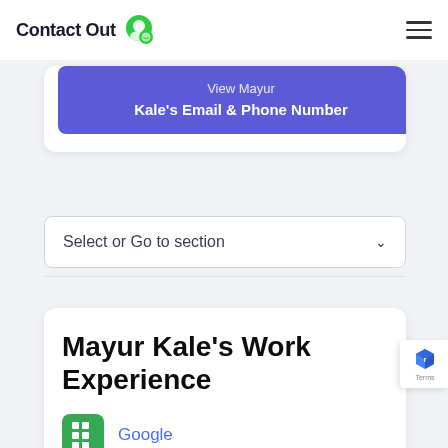ContactOut
Kale's Email & Phone Number
Select or Go to section
Mayur Kale's Work Experience
Google